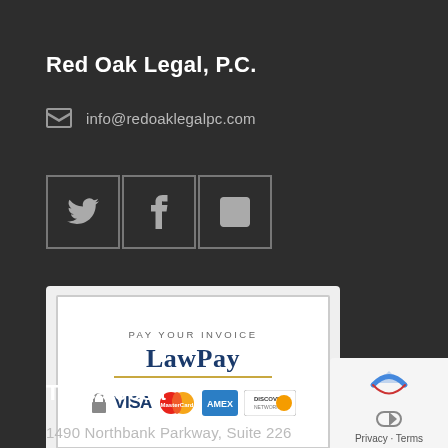Red Oak Legal, P.C.
info@redoaklegalpc.com
[Figure (infographic): Social media icon buttons for Twitter, Facebook, and LinkedIn, each inside a square box border]
[Figure (infographic): LawPay invoice payment button showing Visa, MasterCard, American Express, and Discover card logos with a lock icon]
Tuscaloosa
1490 Northbank Parkway, Suite 226